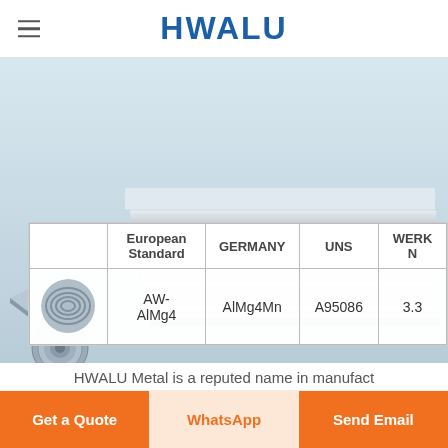HWALU
[Figure (photo): Stack of aluminum sheets/plates shown at an angle, light blue-grey metallic color, stacked horizontally with visible edges.]
|  | European Standard | GERMANY | UNS | WERKN |
| --- | --- | --- | --- | --- |
| [image] | AW-AlMg4 | AlMg4Mn | A95086 | 3.3... |
HWALU Metal is a reputed name in manufact...
Get a Quote
WhatsApp
Send Email